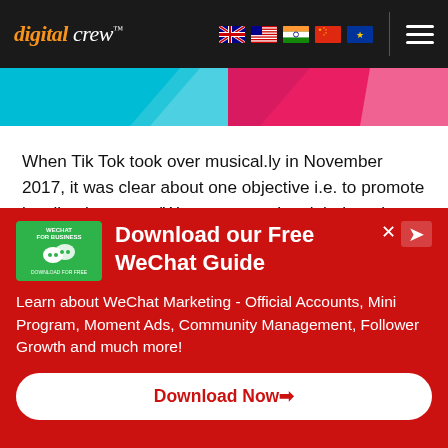digital crew
[Figure (photo): Hero banner image strip with teal/cyan and red/pink diagonal color sections]
When Tik Tok took over musical.ly in November 2017, it was clear about one objective i.e. to promote localized content. ‘We want to make global products with localized content.’ – Zhang Yiming, founder of Bytedance, Tik Tok’s parent company.
[Figure (infographic): Red promotional banner: Download our Free WeChat Guide. Learn about WeChat Marketing - Official Accounts, Mini Program, Moment Ads, Community Management, Follower Growth and much more! Download Now button.]
Download our Free WeChat Guide
Learn about WeChat Marketing - Official Accounts, Mini Program, Moment Ads, Community Management, Follower Growth and much more!
Download Now➡